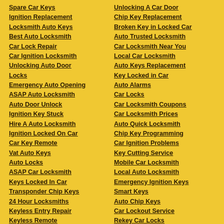Spare Car Keys
Ignition Replacement
Locksmith Auto Keys
Best Auto Locksmith
Car Lock Repair
Car Ignition Locksmith
Unlocking Auto Door Locks
Emergency Auto Opening
ASAP Auto Locksmith
Auto Door Unlock
Ignition Key Stuck
Hire A Auto Locksmith
Ignition Locked On Car
Car Key Remote
Vat Auto Keys
Auto Locks
ASAP Car Locksmith
Keys Locked In Car
Transponder Chip Keys
24 Hour Locksmiths
Keyless Entry Repair
Keyless Remote Replacement
Unlocking A Car Door
Chip Key Replacement
Broken Key in Locked Car
Auto Trusted Locksmith
Car Locksmith Near You
Local Car Locksmith
Auto Keys Replacement
Key Locked in Car
Auto Alarms
Car Locks
Car Locksmith Coupons
Car Locksmith Prices
Auto Quick Locksmith
Chip Key Programming
Car Ignition Problems
Key Cutting Service
Mobile Car Locksmith
Local Auto Locksmith
Emergency Ignition Keys
Smart Keys
Auto Chip Keys
Car Lockout Service
Rekey Car Locks
Replacement Keyless Entry